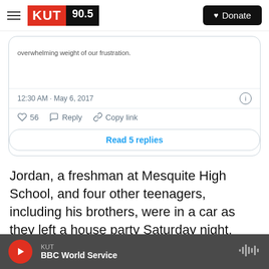KUT 90.5 | Donate
[Figure (screenshot): Embedded tweet card showing partial tweet text 'overwhelming weight of our frustration.' with timestamp 12:30 AM · May 6, 2017, 56 likes, Reply, Copy link actions, and Read 5 replies button]
Jordan, a freshman at Mesquite High School, and four other teenagers, including his brothers, were in a car as they left a house party Saturday night. Oliver was responding to a noise complaint. Oliver, who is white, grabbed his rifle and fired at the car.
KUT | BBC World Service